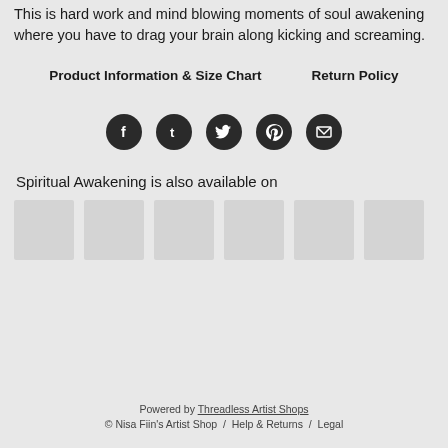This is hard work and mind blowing moments of soul awakening where you have to drag your brain along kicking and screaming.
Product Information & Size Chart    Return Policy
[Figure (other): Row of five dark circular social media icons: Facebook, Tumblr, Twitter, Pinterest, Email]
Spiritual Awakening is also available on
[Figure (other): Six light gray square thumbnail placeholder images in a row]
Powered by Threadless Artist Shops
© Nisa Fiin's Artist Shop / Help & Returns / Legal